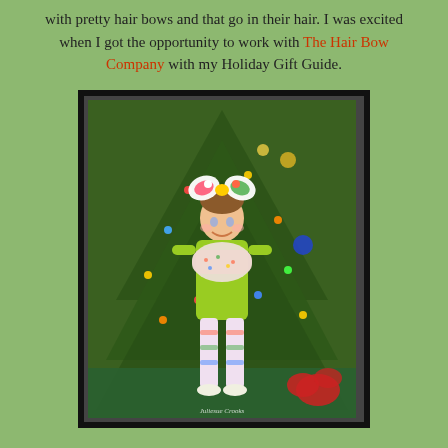with pretty hair bows and that go in their hair. I was excited when I got the opportunity to work with The Hair Bow Company with my Holiday Gift Guide.
[Figure (photo): Young toddler girl wearing a bright green long-sleeve dress with a floral scarf, colorful hair bow on top of her head, standing in front of a decorated Christmas tree with lights and ornaments. A watermark reads 'Juliesue Crooks' at the bottom right.]